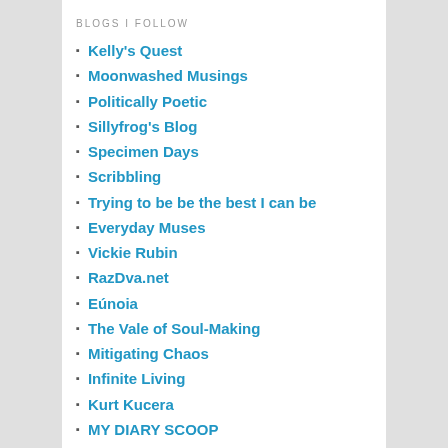BLOGS I FOLLOW
Kelly's Quest
Moonwashed Musings
Politically Poetic
Sillyfrog's Blog
Specimen Days
Scribbling
Trying to be be the best I can be
Everyday Muses
Vickie Rubin
RazDva.net
Eúnoia
The Vale of Soul-Making
Mitigating Chaos
Infinite Living
Kurt Kucera
MY DIARY SCOOP
The Stories In Between
Raw Earth Ink
ART WORLD BLOG